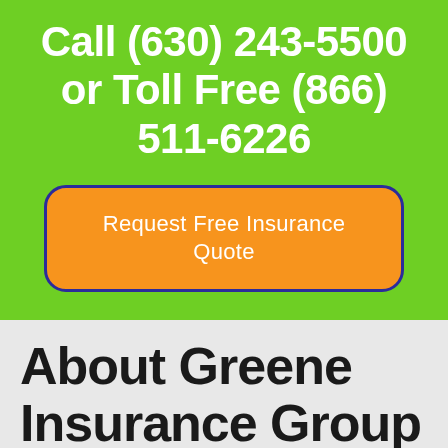Call (630) 243-5500 or Toll Free (866) 511-6226
Request Free Insurance Quote
About Greene Insurance Group